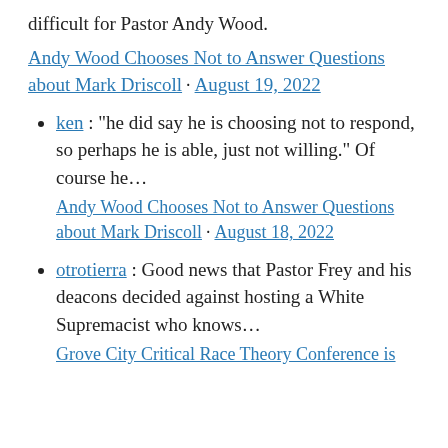difficult for Pastor Andy Wood.
Andy Wood Chooses Not to Answer Questions about Mark Driscoll · August 19, 2022
ken : "he did say he is choosing not to respond, so perhaps he is able, just not willing." Of course he... Andy Wood Chooses Not to Answer Questions about Mark Driscoll · August 18, 2022
otrotierra : Good news that Pastor Frey and his deacons decided against hosting a White Supremacist who knows... Grove City Critical Race Theory Conference is